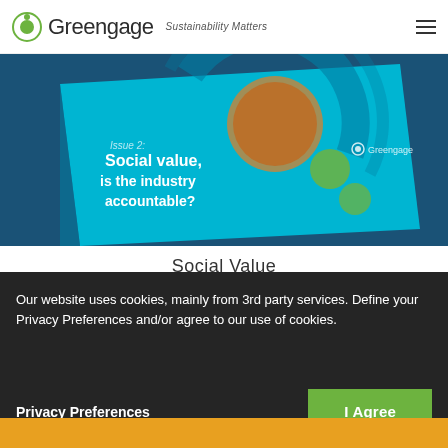Greengage Sustainability Matters
[Figure (photo): A teal/cyan colored report booklet titled 'Social value, is the industry accountable?' with Greengage branding, set against a blue background with circular graphic elements]
Social Value
Our website uses cookies, mainly from 3rd party services. Define your Privacy Preferences and/or agree to our use of cookies.
Privacy Preferences
I Agree